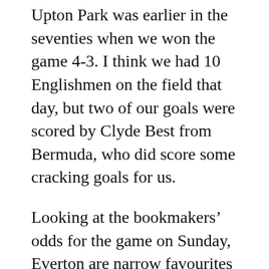Upton Park was earlier in the seventies when we won the game 4-3. I think we had 10 Englishmen on the field that day, but two of our goals were scored by Clyde Best from Bermuda, who did score some cracking goals for us.
Looking at the bookmakers' odds for the game on Sunday, Everton are narrow favourites at 6/4, we are around 15/8, with the draw at 23/10. My fun bet for this game is for West Ham to win 1-0 and the goal to be scored by Aaron Cresswell (an Englishman for a change!). The odds for this are 200/1. I can just picture a free kick about 25 yards out in the last few minutes, and Cresswell lifting it over the wall into the top corner. What are the chances? And by the